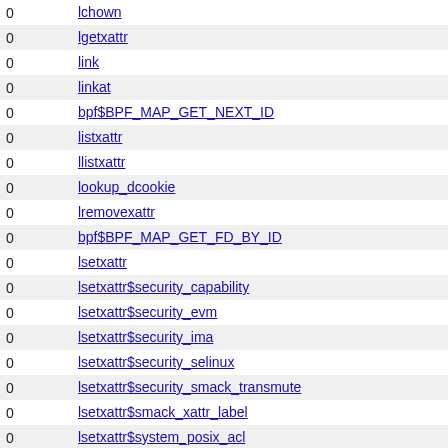|  |  |
| --- | --- |
| 0 | lchown |
| 0 | lgetxattr |
| 0 | link |
| 0 | linkat |
| 0 | bpf$BPF_MAP_GET_NEXT_ID |
| 0 | listxattr |
| 0 | llistxattr |
| 0 | lookup_dcookie |
| 0 | lremovexattr |
| 0 | bpf$BPF_MAP_GET_FD_BY_ID |
| 0 | lsetxattr |
| 0 | lsetxattr$security_capability |
| 0 | lsetxattr$security_evm |
| 0 | lsetxattr$security_ima |
| 0 | lsetxattr$security_selinux |
| 0 | lsetxattr$security_smack_transmute |
| 0 | lsetxattr$smack_xattr_label |
| 0 | lsetxattr$system_posix_acl |
| 0 | lsetxattr$trusted_overlay_nlink |
| 0 | lsetxattr$trusted_overlay_opaque |
| 0 | lsetxattr$trusted_overlay_origin |